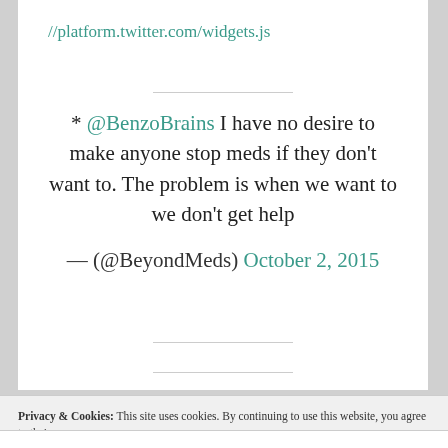//platform.twitter.com/widgets.js
* @BenzoBrains I have no desire to make anyone stop meds if they don't want to. The problem is when we want to we don't get help
— (@BeyondMeds) October 2, 2015
Privacy & Cookies: This site uses cookies. By continuing to use this website, you agree to their use.
To find out more, including how to control cookies, see here: Cookie Policy
Close and accept